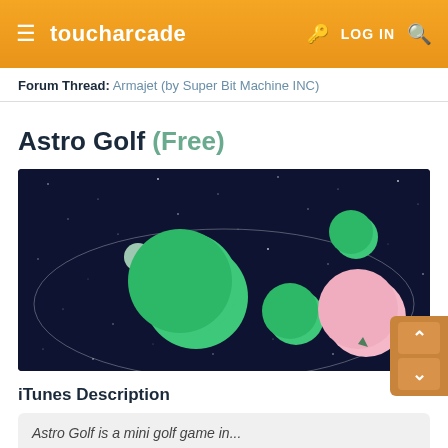toucharcade  LOG IN
Forum Thread: Armajet (by Super Bit Machine INC)
Astro Golf (Free)
[Figure (screenshot): Screenshot of Astro Golf game showing colorful planets and orbital paths on a dark blue starry background. Several green circular planets of varying sizes and one pink planet are visible with curved trajectory lines.]
iTunes Description
Astro Golf is a mini golf game in...